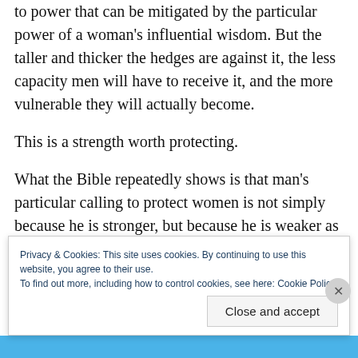to power that can be mitigated by the particular power of a woman's influential wisdom. But the taller and thicker the hedges are against it, the less capacity men will have to receive it, and the more vulnerable they will actually become.
This is a strength worth protecting.
What the Bible repeatedly shows is that man's particular calling to protect women is not simply because he is stronger, but because he is weaker as well.  He is as in need of a woman's complementary strength to protect him, as she needs his to protect
Privacy & Cookies: This site uses cookies. By continuing to use this website, you agree to their use.
To find out more, including how to control cookies, see here: Cookie Policy
Close and accept